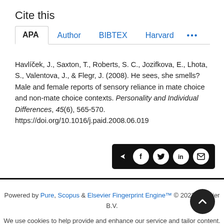Cite this
APA  Author  BIBTEX  Harvard  •••
Havlíček, J., Saxton, T., Roberts, S. C., Jozifkova, E., Lhota, S., Valentova, J., & Flegr, J. (2008). He sees, she smells? Male and female reports of sensory reliance in mate choice and non-mate choice contexts. Personality and Individual Differences, 45(6), 565-570. https://doi.org/10.1016/j.paid.2008.06.019
[Figure (other): Share icons bar with share, Facebook, Twitter, LinkedIn, and email icons on a black background]
Powered by Pure, Scopus & Elsevier Fingerprint Engine™ © 2022 Elsevier B.V.
We use cookies to help provide and enhance our service and tailor content. By continuing you agree to the use of cookies